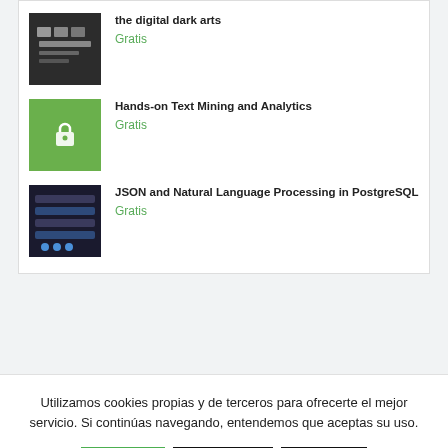[Figure (screenshot): Thumbnail image for dark arts course - keyboard/dark background]
the digital dark arts
Gratis
[Figure (logo): Green background thumbnail with lock icon for Hands-on Text Mining and Analytics]
Hands-on Text Mining and Analytics
Gratis
[Figure (screenshot): Thumbnail image for JSON and Natural Language Processing in PostgreSQL course]
JSON and Natural Language Processing in PostgreSQL
Gratis
Utilizamos cookies propias y de terceros para ofrecerte el mejor servicio. Si continúas navegando, entendemos que aceptas su uso.
Acepto
Rechazar
Ajustes
Leer más